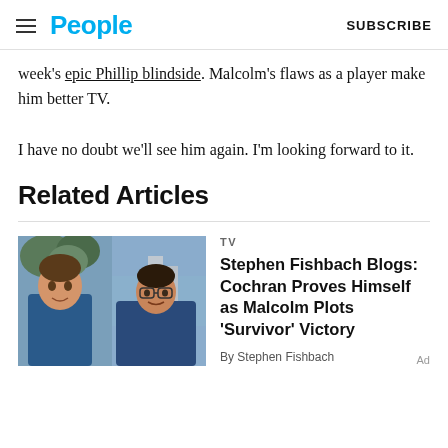People | SUBSCRIBE
week's epic Phillip blindside. Malcolm's flaws as a player make him better TV.
I have no doubt we'll see him again. I'm looking forward to it.
Related Articles
[Figure (photo): Two men standing outdoors, both wearing blue shirts. Left man is taller with short brown hair, right man is slightly shorter wearing glasses.]
TV
Stephen Fishbach Blogs: Cochran Proves Himself as Malcolm Plots 'Survivor' Victory
By Stephen Fishbach